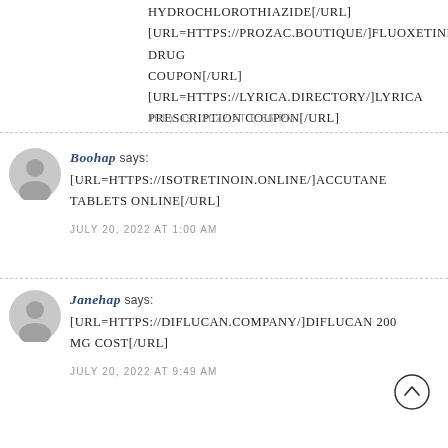HYDROCHLOROTHIAZIDE[/URL] [URL=HTTPS://PROZAC.BOUTIQUE/]FLUOXETINE DRUG COUPON[/URL] [URL=HTTPS://LYRICA.DIRECTORY/]LYRICA PRESCRIPTION COUPON[/URL]
JULY 19, 2022 AT 6:36 PM
BOOHAP SAYS:
[URL=HTTPS://ISOTRETINOIN.ONLINE/]ACCUTANE TABLETS ONLINE[/URL]
JULY 20, 2022 AT 1:00 AM
JANEHAP SAYS:
[URL=HTTPS://DIFLUCAN.COMPANY/]DIFLUCAN 200 MG COST[/URL]
JULY 20, 2022 AT 9:49 AM